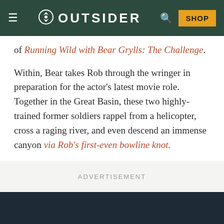OUTSIDER
of Running Wild with Bear Grylls: The Challenge.
Within, Bear takes Rob through the wringer in preparation for the actor's latest movie role. Together in the Great Basin, these two highly-trained former soldiers rappel from a helicopter, cross a raging river, and even descend an immense canyon via Rob's first-even bowline knot.
ADVERTISEMENT